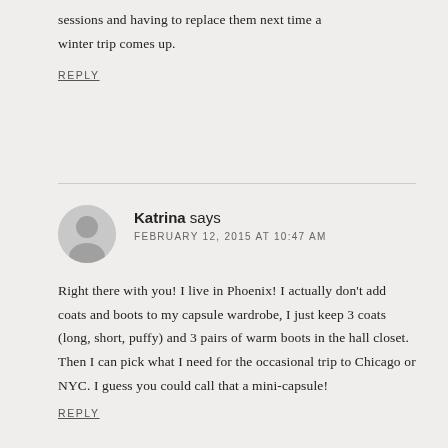sessions and having to replace them next time a winter trip comes up.
REPLY
Katrina says FEBRUARY 12, 2015 AT 10:47 AM
Right there with you! I live in Phoenix! I actually don't add coats and boots to my capsule wardrobe, I just keep 3 coats (long, short, puffy) and 3 pairs of warm boots in the hall closet. Then I can pick what I need for the occasional trip to Chicago or NYC. I guess you could call that a mini-capsule!
REPLY